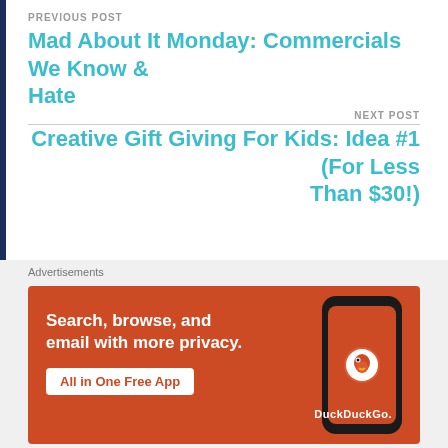PREVIOUS POST
Mad About It Monday: Commercials We Know & Hate
NEXT POST
Creative Gift Giving For Kids: Idea #1 (For Less Than $30!)
Leave a comment, leave some love...
Your email address will not be published. Required
Advertisements
[Figure (screenshot): DuckDuckGo advertisement banner showing orange background with text 'Search, browse, and email with more privacy. All in One Free App' and a phone with DuckDuckGo logo]